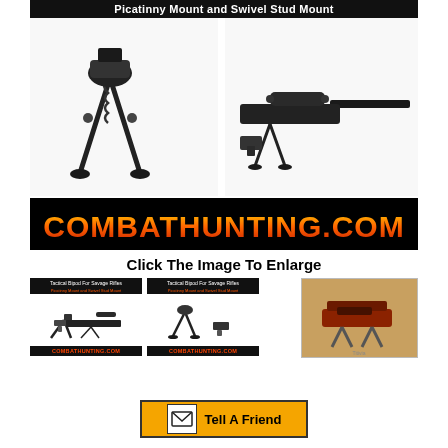Picatinny Mount and Swivel Stud Mount
[Figure (photo): Product photo showing tactical bipod for Savage rifles with Picatinny mount and swivel stud mount. Left shows close-up of bipod standalone; right shows full rifle with scope mounted on bipod.]
[Figure (logo): COMBATHUNTING.COM logo on black background with orange/flame-style text]
Click The Image To Enlarge
[Figure (photo): Three thumbnail images: two product images with CombatHunting.com branding showing the tactical bipod with rifle from different angles, and one photo of a bipod with brown/tan coloring]
[Figure (other): Tell A Friend button with envelope icon and orange background]